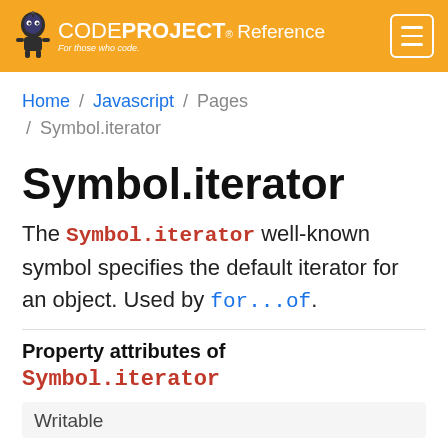CODEPROJECT Reference — For those who code
Home / Javascript / Pages / Symbol.iterator
Symbol.iterator
The Symbol.iterator well-known symbol specifies the default iterator for an object. Used by for...of.
Property attributes of Symbol.iterator
| Writable |
| --- |